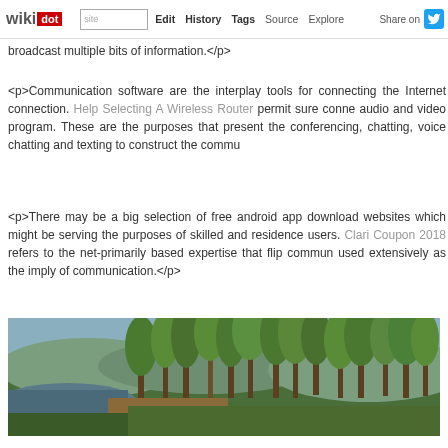wikidot | site | Edit | History | Tags | Source | Explore | Share on [Twitter]
broadcast multiple bits of information.</p>
<p>Communication software are the interplay tools for connecting the Internet connection. Help Selecting A Wireless Router permit sure conne audio and video program. These are the purposes that present the conferencing, chatting, voice chatting and texting to construct the commu
<p>There may be a big selection of free android app download websites which might be serving the purposes of skilled and residence users. Clari Coupon 2018 refers to the net-primarily based expertise that flip commun used extensively as the imply of communication.</p>
[Figure (photo): A landscape scene with trees (birch/aspen) in the foreground and a body of water and hills in the background, appearing to be a video-game or rendered environment screenshot.]